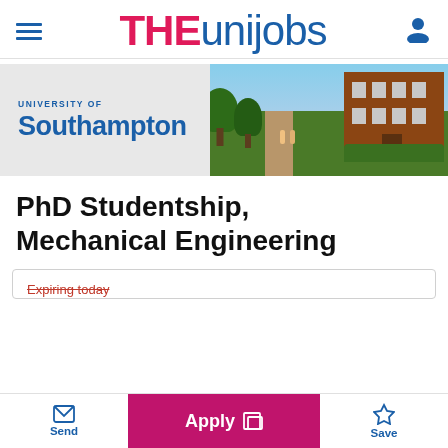THE unijobs
[Figure (photo): University of Southampton banner with campus photo showing brick building and green grounds]
PhD Studentship, Mechanical Engineering
Expiring today
Send | Apply | Save